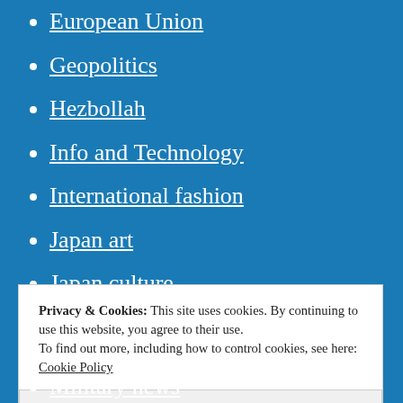European Union
Geopolitics
Hezbollah
Info and Technology
International fashion
Japan art
Japan culture
Japan fashion
Japan geopolitics
Japan lifestyle
Japan news
Privacy & Cookies: This site uses cookies. By continuing to use this website, you agree to their use. To find out more, including how to control cookies, see here: Cookie Policy
Close and accept
Military news